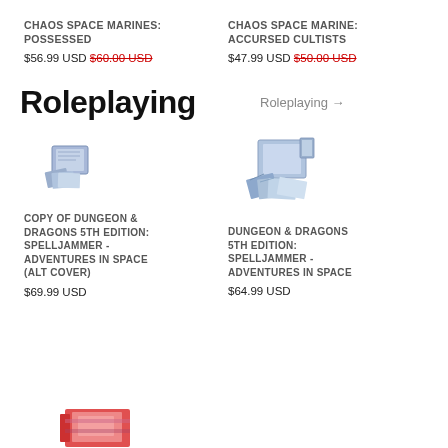CHAOS SPACE MARINES: POSSESSED
$56.99 USD $60.00 USD
CHAOS SPACE MARINE: ACCURSED CULTISTS
$47.99 USD $50.00 USD
Roleplaying
Roleplaying →
[Figure (photo): Product image of Copy of Dungeon & Dragons 5th Edition: Spelljammer - Adventures in Space (Alt Cover) box set]
COPY OF DUNGEON & DRAGONS 5TH EDITION: SPELLJAMMER - ADVENTURES IN SPACE (ALT COVER)
$69.99 USD
[Figure (photo): Product image of Dungeon & Dragons 5th Edition: Spelljammer - Adventures in Space box set]
DUNGEON & DRAGONS 5TH EDITION: SPELLJAMMER - ADVENTURES IN SPACE
$64.99 USD
[Figure (photo): Partial product image at bottom left]